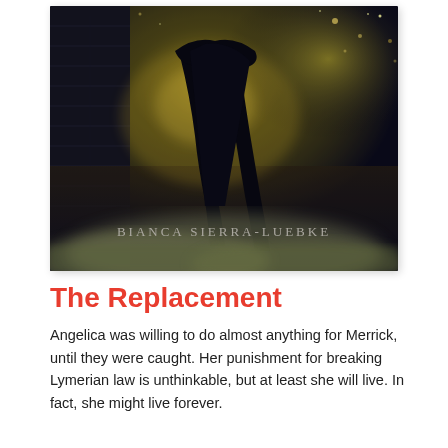[Figure (illustration): Book cover for 'The Replacement' by Bianca Sierra-Luebke. Dark atmospheric image showing the legs and lower body of a figure in a dark tunnel or alley with glowing golden-green light in the background, mist/smoke at the bottom, and the author's name 'BIANCA SIERRA-LUEBKE' in white serif text near the bottom of the cover.]
The Replacement
Angelica was willing to do almost anything for Merrick, until they were caught. Her punishment for breaking Lymerian law is unthinkable, but at least she will live. In fact, she might live forever.